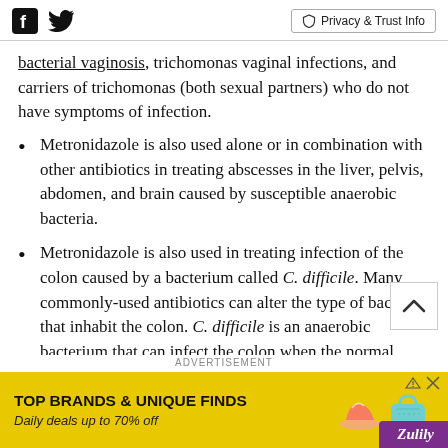Social icons (Facebook, Twitter) | Privacy & Trust Info
bacterial vaginosis, trichomonas vaginal infections, and carriers of trichomonas (both sexual partners) who do not have symptoms of infection.
Metronidazole is also used alone or in combination with other antibiotics in treating abscesses in the liver, pelvis, abdomen, and brain caused by susceptible anaerobic bacteria.
Metronidazole is also used in treating infection of the colon caused by a bacterium called C. difficile. Many commonly-used antibiotics can alter the type of bacteria that inhabit the colon. C. difficile is an anaerobic bacterium that can infect the colon when the normal types of bacteria in the colon are inhibited by common antibiotics. This leads to inflammation of the colon (pseudomembranous
ADVERTISEMENT
[Figure (infographic): Advertisement banner for Zulily: TOP BRANDS & UNIQUE FINDS. Daily deals up to 70% off. Yellow background with product images.]